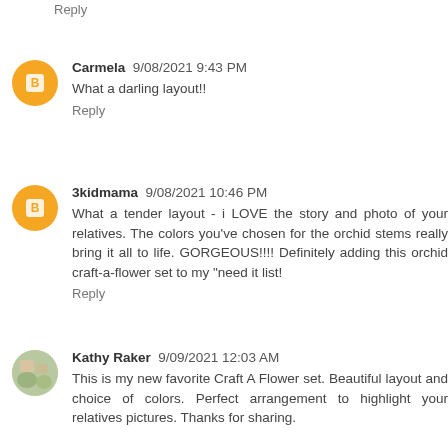Reply
Carmela 9/08/2021 9:43 PM
What a darling layout!!
Reply
3kidmama 9/08/2021 10:46 PM
What a tender layout - i LOVE the story and photo of your relatives. The colors you've chosen for the orchid stems really bring it all to life. GORGEOUS!!!! Definitely adding this orchid craft-a-flower set to my "need it list!
Reply
Kathy Raker 9/09/2021 12:03 AM
This is my new favorite Craft A Flower set. Beautiful layout and choice of colors. Perfect arrangement to highlight your relatives pictures. Thanks for sharing.